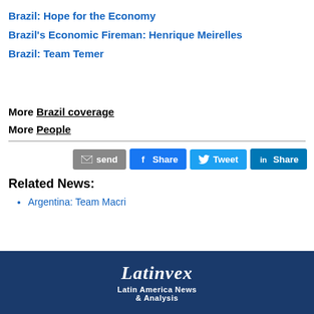Brazil: Hope for the Economy
Brazil's Economic Fireman: Henrique Meirelles
Brazil: Team Temer
More Brazil coverage
More People
[Figure (infographic): Social sharing buttons: send (email), Share (Facebook), Tweet (Twitter), Share (LinkedIn)]
Related News:
Argentina: Team Macri
Latinvex Latin America News & Analysis